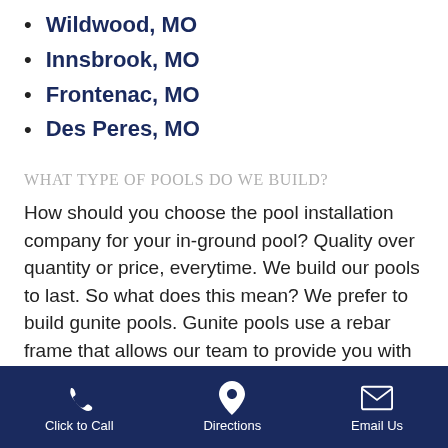Wildwood, MO
Innsbrook, MO
Frontenac, MO
Des Peres, MO
WHAT TYPE OF POOLS DO WE BUILD?
How should you choose the pool installation company for your in-ground pool? Quality over quantity or price, everytime. We build our pools to last. So what does this mean? We prefer to build gunite pools. Gunite pools use a rebar frame that allows our team to provide you with a completely custom shape. If you have a certain shape or function for your pool in mind, the Gunite style of building...
Click to Call   Directions   Email Us